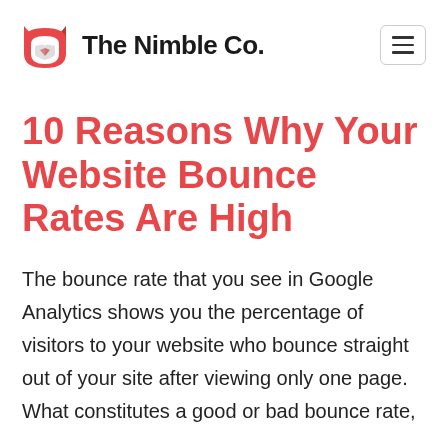The Nimble Co.
10 Reasons Why Your Website Bounce Rates Are High
The bounce rate that you see in Google Analytics shows you the percentage of visitors to your website who bounce straight out of your site after viewing only one page. What constitutes a good or bad bounce rate,